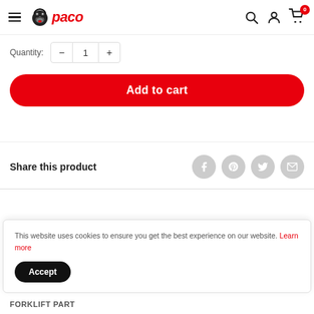paco — navigation bar with hamburger menu, logo, search, account, and cart icons
Quantity: - 1 +
Add to cart
Share this product
This website uses cookies to ensure you get the best experience on our website. Learn more
Accept
FORKLIFT PART